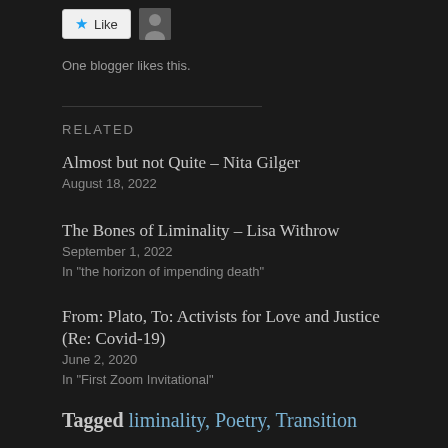[Figure (other): Like button with star icon and small avatar photo of a person]
One blogger likes this.
RELATED
Almost but not Quite – Nita Gilger
August 18, 2022
The Bones of Liminality – Lisa Withrow
September 1, 2022
In "the horizon of impending death"
From: Plato, To: Activists for Love and Justice (Re: Covid-19)
June 2, 2020
In "First Zoom Invitational"
Tagged liminality, Poetry, Transition